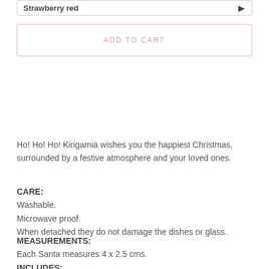Strawberry red
ADD TO CART
Ho! Ho! Ho! Kirigamia wishes you the happiest Christmas, surrounded by a festive atmosphere and your loved ones.
CARE:
Washable.
Microwave proof.
When detached they do not damage the dishes or glass.
MEASUREMENTS:
Each Santa measures 4 x 2.5 cms.
INCLUDES: